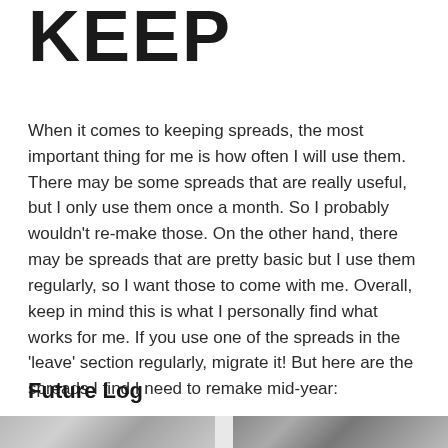KEEP
When it comes to keeping spreads, the most important thing for me is how often I will use them. There may be some spreads that are really useful, but I only use them once a month. So I probably wouldn't re-make those. On the other hand, there may be spreads that are pretty basic but I use them regularly, so I want those to come with me. Overall, keep in mind this is what I personally find what works for me. If you use one of the spreads in the 'leave' section regularly, migrate it! But here are the spreads I find I need to remake mid-year:
Future Log
[Figure (photo): Two grayscale photographs side by side at the bottom of the page, partially visible. Left photo appears lighter with horizontal texture, right photo appears darker with more varied tones.]